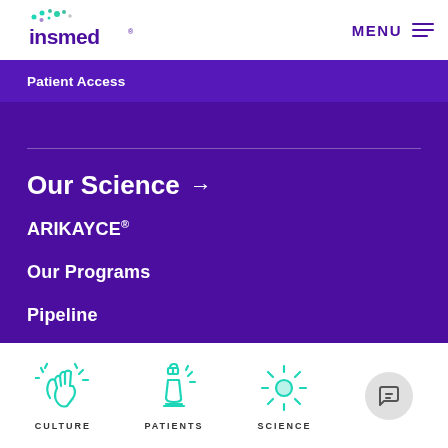insmed
MENU
Patient Access
Our Science →
ARIKAYCE®
Our Programs
Pipeline
Clinical Trials
Our Research T...
[Figure (illustration): CULTURE icon: illustrated hands clapping/waving with sparkles, teal color]
[Figure (illustration): PATIENTS icon: illustrated microscope with sparkles, teal color]
[Figure (illustration): SCIENCE icon: illustrated sun/atom symbol with sparkles, teal color]
[Figure (illustration): Chat/menu button: circular grey button with chat bubble icon]